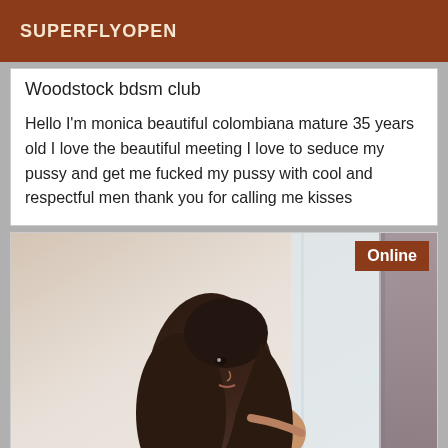SUPERFLYOPEN
Woodstock bdsm club
Hello I'm monica beautiful colombiana mature 35 years old I love the beautiful meeting I love to seduce my pussy and get me fucked my pussy with cool and respectful men thank you for calling me kisses
[Figure (photo): Woman with long dark hair looking over her shoulder, light background with curtain visible on right side. Online badge in top right corner.]